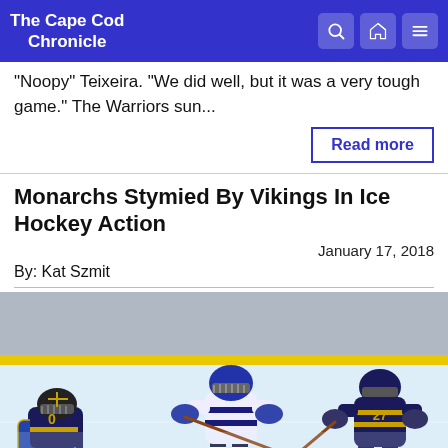The Cape Cod Chronicle
“Noopy” Teixeira. “We did well, but it was a very tough game.” The Warriors sun...
Read more
Monarchs Stymied By Vikings In Ice Hockey Action
January 17, 2018
By: Kat Szmit
[Figure (photo): Ice hockey action photo showing players on the rink. A player in white and navy uniform is skating with a stick, a goalie in dark navy and gold is at left, and another player in navy and gold uniform with number 27 is at right.]